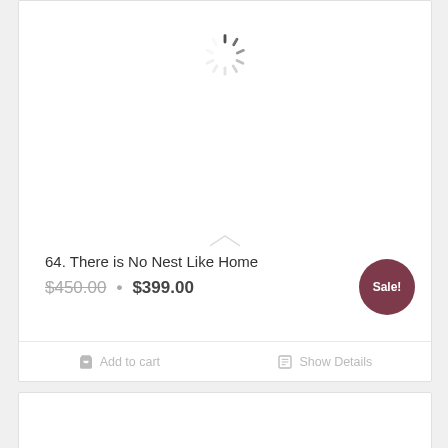[Figure (illustration): Loading spinner (circular dashed spinner icon) in the upper portion of a product card]
64. There is No Nest Like Home
$450.00 • $399.00
Sale!
Add to cart
Show Details